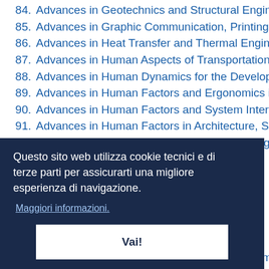84. Advances in Geotechnics and Structural Engineering
85. Advances in Graphic Communication, Printing and
86. Advances in Heat Transfer and Thermal Engineering
87. Advances in Human Aspects of Transportation
88. Advances in Human Dynamics for the Development
89. Advances in Human Factors and Ergonomics in He
90. Advances in Human Factors and System Interaction
91. Advances in Human Factors in Architecture, Susta
92. Advances in Human Factors, Business Management
Questo sito web utilizza cookie tecnici e di terze parti per assicurarti una migliore esperienza di navigazione.
Maggiori informazioni.
Vai!
103. Advances in Machine Learning and Computational